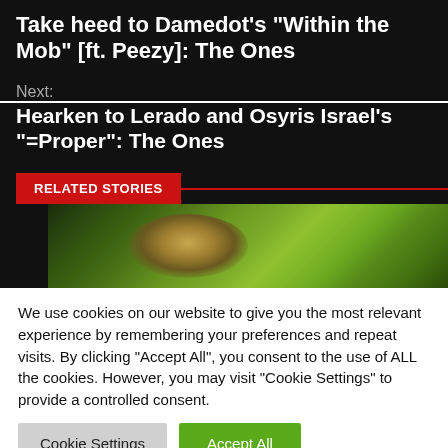Take heed to Damedot's “Within the Mob” [ft. Peezy]: The Ones
Next:
Hearken to Lerado and Osyris Israel’s “=Proper”: The Ones
RELATED STORIES
[Figure (photo): Partial image of green-toned artwork or album cover, partially obscured by black bar on left]
We use cookies on our website to give you the most relevant experience by remembering your preferences and repeat visits. By clicking “Accept All”, you consent to the use of ALL the cookies. However, you may visit "Cookie Settings" to provide a controlled consent.